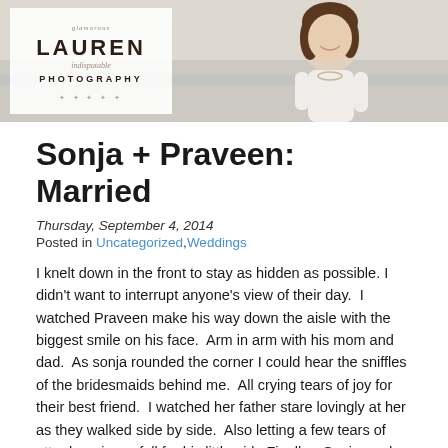[Figure (photo): Header banner with Lauren Indisputable Photography logo on left with white background, and a woman smiling in a white top with a necklace on the right side, outdoor setting with soft bokeh background]
Sonja + Praveen: Married
Thursday, September 4, 2014
Posted in Uncategorized,Weddings
I knelt down in the front to stay as hidden as possible. I didn't want to interrupt anyone's view of their day.  I watched Praveen make his way down the aisle with the biggest smile on his face.  Arm in arm with his mom and dad.  As sonja rounded the corner I could hear the sniffles of the bridesmaids behind me.  All crying tears of joy for their best friend.  I watched her father stare lovingly at her as they walked side by side.  Also letting a few tears of utter happiness fall for his little girl.  Finally…Sonja made her way to Praveen and he looked at her with this twinkle in his eye